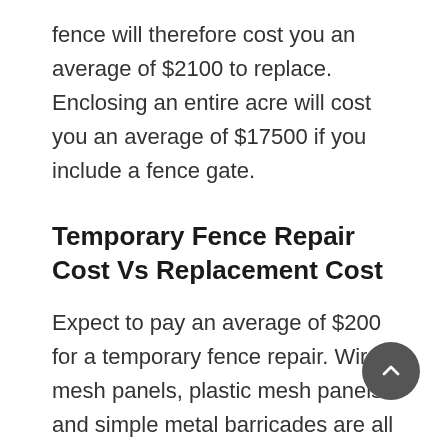fence will therefore cost you an average of $2100 to replace. Enclosing an entire acre will cost you an average of $17500 if you include a fence gate.
Temporary Fence Repair Cost Vs Replacement Cost
Expect to pay an average of $200 for a temporary fence repair. Wire mesh panels, plastic mesh panels and simple metal barricades are all examples of temporary fences. They are normally employed while activities like repairs and landscaping are